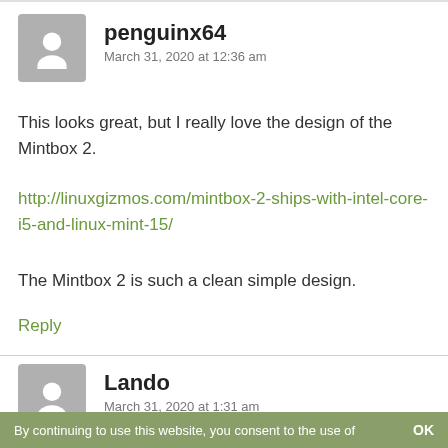penguinx64
March 31, 2020 at 12:36 am
This looks great, but I really love the design of the Mintbox 2.
http://linuxgizmos.com/mintbox-2-ships-with-intel-core-i5-and-linux-mint-15/
The Mintbox 2 is such a clean simple design.
Reply
Lando
March 31, 2020 at 1:31 am
By continuing to use this website, you consent to the use of   OK